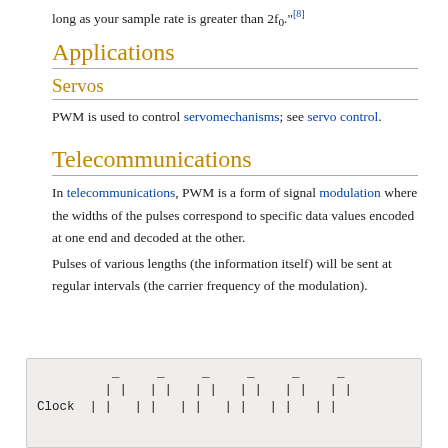long as your sample rate is greater than 2f₀."[8]
Applications
Servos
PWM is used to control servomechanisms; see servo control.
Telecommunications
In telecommunications, PWM is a form of signal modulation where the widths of the pulses correspond to specific data values encoded at one end and decoded at the other.
Pulses of various lengths (the information itself) will be sent at regular intervals (the carrier frequency of the modulation).
[Figure (other): Clock signal diagram showing pulses at regular intervals, partially visible at the bottom of the page.]